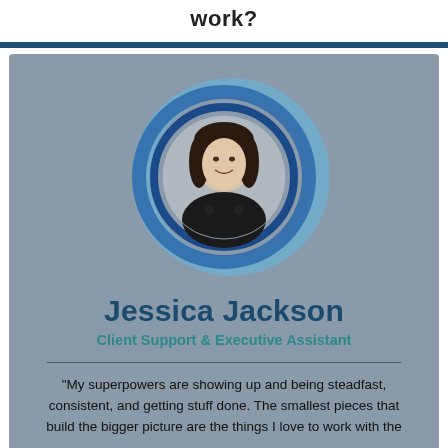work?
[Figure (photo): Portrait photo of Jessica Jackson inside concentric blue circles (decorative ring design). The photo shows a woman with dark hair, smiling, wearing a black top.]
Jessica Jackson
Client Support & Executive Assistant
"My superpowers are showing up and being steadfast, consistent, and getting stuff done. The smallest pieces that build the bigger picture are the things I love to work with the